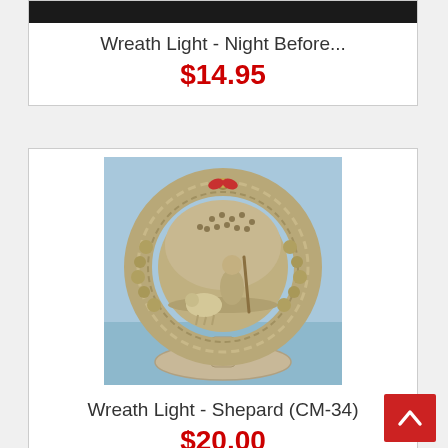[Figure (photo): Dark/black top portion of a product image (partially visible at top of page)]
Wreath Light - Night Before...
$14.95
[Figure (photo): Ceramic/resin wreath light figurine shaped like a circular wreath with a shepherd scene inside, displayed against a blue background]
Wreath Light - Shepard (CM-34)
$20.00